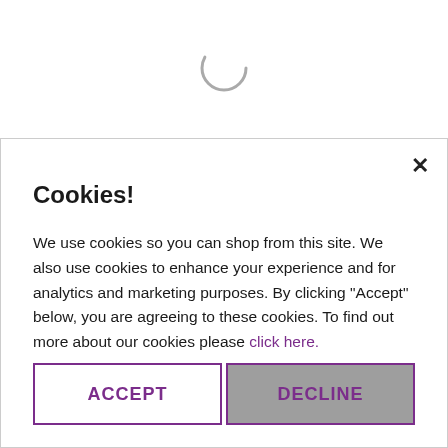[Figure (other): Spinning loading indicator (circular arc spinner) centered in the upper white area of the page]
Cookies!
We use cookies so you can shop from this site. We also use cookies to enhance your experience and for analytics and marketing purposes. By clicking "Accept" below, you are agreeing to these cookies. To find out more about our cookies please click here.
ACCEPT
DECLINE